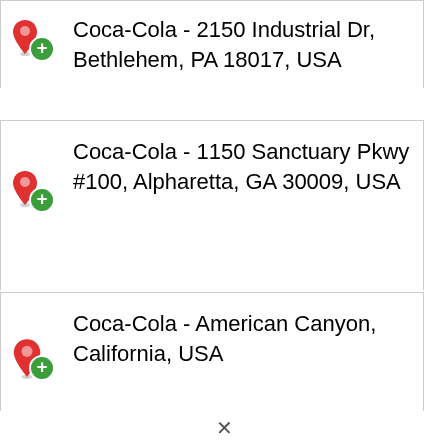Coca-Cola - 2150 Industrial Dr, Bethlehem, PA 18017, USA
Coca-Cola - 1150 Sanctuary Pkwy #100, Alpharetta, GA 30009, USA
Coca-Cola - American Canyon, California, USA